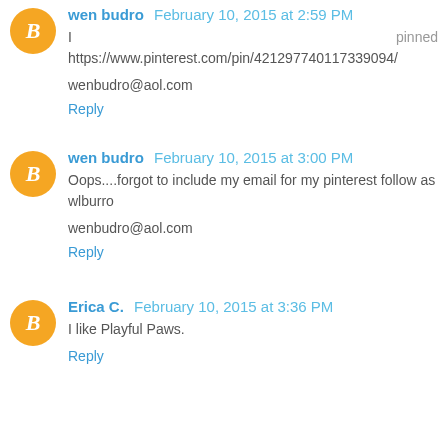wen budro February 10, 2015 at 2:59 PM
I pinned https://www.pinterest.com/pin/421297740117339094/
wenbudro@aol.com
Reply
wen budro February 10, 2015 at 3:00 PM
Oops....forgot to include my email for my pinterest follow as wlburro
wenbudro@aol.com
Reply
Erica C. February 10, 2015 at 3:36 PM
I like Playful Paws.
Reply